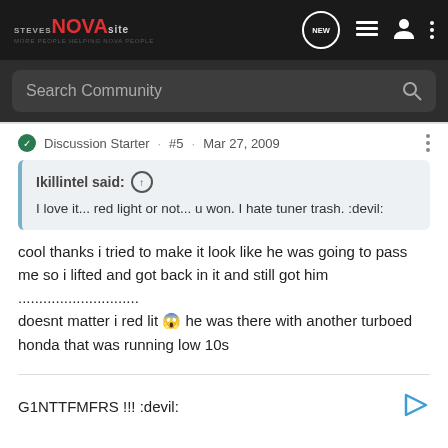STEVES NOVA SITE — MORE PEOPLE HELPING NOVA PEOPLE
Search Community
Discussion Starter · #5 · Mar 27, 2009
Ikillintel said: ↑
I love it... red light or not... u won. I hate tuner trash. :devil:
cool thanks i tried to make it look like he was going to pass me so i lifted and got back in it and still got him .............................
doesnt matter i red lit 😱 he was there with another turboed honda that was running low 10s
G1NTTFMFRS !!! :devil: